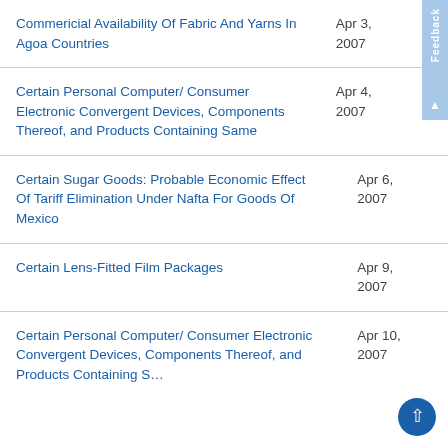Commericial Availability Of Fabric And Yarns In Agoa Countries	Apr 3, 2007
Certain Personal Computer/ Consumer Electronic Convergent Devices, Components Thereof, and Products Containing Same	Apr 4, 2007
Certain Sugar Goods: Probable Economic Effect Of Tariff Elimination Under Nafta For Goods Of Mexico	Apr 6, 2007
Certain Lens-Fitted Film Packages	Apr 9, 2007
Certain Personal Computer/ Consumer Electronic Convergent Devices, Components Thereof, and Products Containing S…	Apr 10, 2007